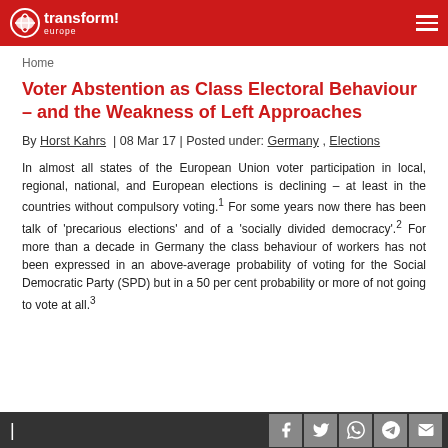transform! europe
Home
Voter Abstention as Class Electoral Behaviour – and the Weakness of Left Approaches
By Horst Kahrs | 08 Mar 17 | Posted under: Germany , Elections
In almost all states of the European Union voter participation in local, regional, national, and European elections is declining – at least in the countries without compulsory voting.1 For some years now there has been talk of 'precarious elections' and of a 'socially divided democracy'.2 For more than a decade in Germany the class behaviour of workers has not been expressed in an above-average probability of voting for the Social Democratic Party (SPD) but in a 50 per cent probability or more of not going to vote at all.3
|